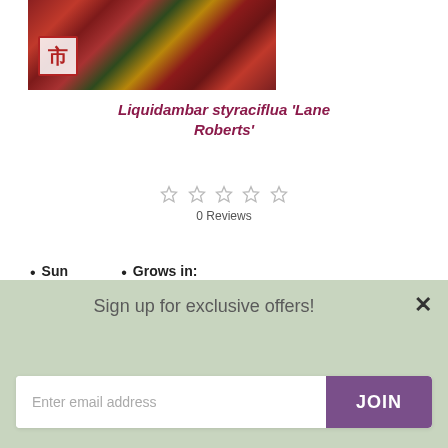[Figure (photo): Photo of Liquidambar styraciflua 'Lane Roberts' showing red and dark foliage with a small white badge/logo in the lower left corner]
Liquidambar styraciflua 'Lane Roberts'
0 Reviews
Sun shade: sun or semi shade
Grows in: Borders
Flower Colour: Green
Longevity: Tree
Sign up for exclusive offers!
Enter email address
JOIN